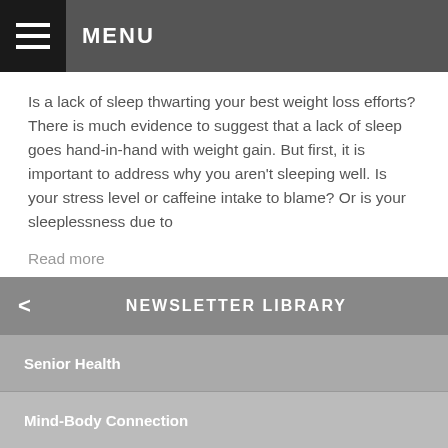MENU
Is a lack of sleep thwarting your best weight loss efforts? There is much evidence to suggest that a lack of sleep goes hand-in-hand with weight gain. But first, it is important to address why you aren't sleeping well. Is your stress level or caffeine intake to blame? Or is your sleeplessness due to
Read more
NEWSLETTER LIBRARY
Senior Health
Mind-Body Connection